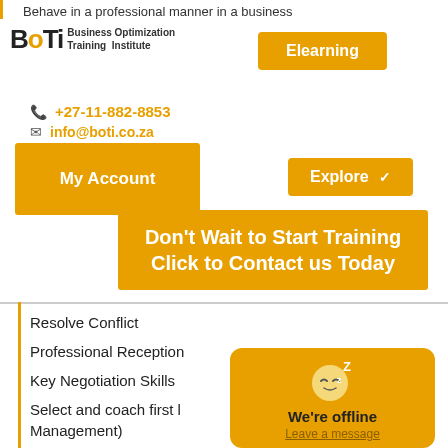Behave in a professional manner in a business
[Figure (logo): BOTI - Business Optimization Training Institute logo]
Elearning
+27-11-882-8853
info@boti.co.za
My Account
Explore
Don't Wait to Start Training Click to Contact us Today
Resolve Conflict
Professional Reception
Key Negotiation Skills
Select and coach first l Management)
Manage service provid (Business Administrati
[Figure (illustration): Sleeping face emoji with Z's indicating offline/sleep mode]
We're offline
Leave a message